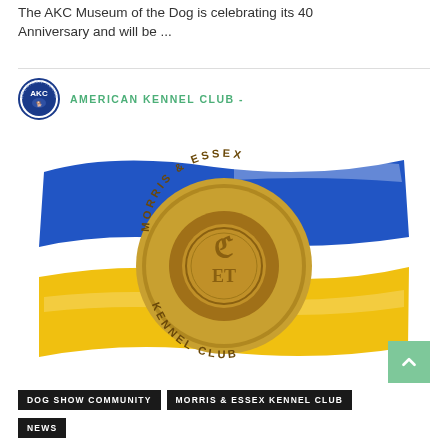The AKC Museum of the Dog is celebrating its 40 Anniversary and will be ...
[Figure (logo): American Kennel Club circular logo with AKC text and dog silhouette]
AMERICAN KENNEL CLUB -
[Figure (illustration): Morris & Essex Kennel Club medallion/coin in gold, centered on a blue and yellow Ukrainian flag color brushstroke background]
DOG SHOW COMMUNITY
MORRIS & ESSEX KENNEL CLUB
NEWS